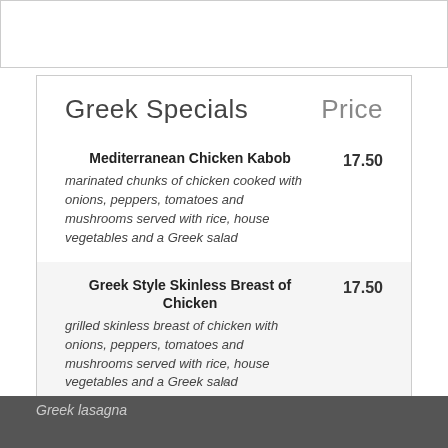Greek Specials    Price
Mediterranean Chicken Kabob — 17.50 — marinated chunks of chicken cooked with onions, peppers, tomatoes and mushrooms served with rice, house vegetables and a Greek salad
Greek Style Skinless Breast of Chicken — 17.50 — grilled skinless breast of chicken with onions, peppers, tomatoes and mushrooms served with rice, house vegetables and a Greek salad
Moussaka — 16.25 — layers of potato, eggplant, ground beef and a cream sauce served with a Greek salad
Pastitsio — 16.00
Greek lasagna